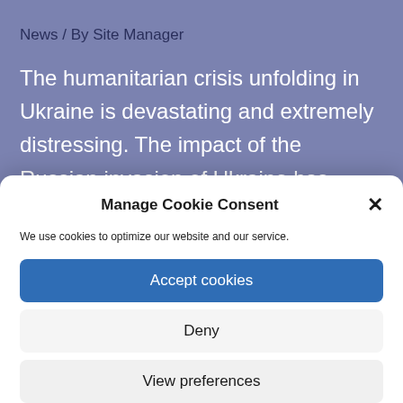News / By Site Manager
The humanitarian crisis unfolding in Ukraine is devastating and extremely distressing. The impact of the Russian invasion of Ukraine has unnerved global markets. Investors worried about recent events and the
Manage Cookie Consent
We use cookies to optimize our website and our service.
Accept cookies
Deny
View preferences